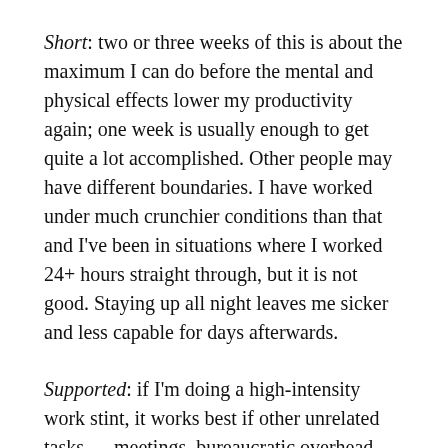Short: two or three weeks of this is about the maximum I can do before the mental and physical effects lower my productivity again; one week is usually enough to get quite a lot accomplished. Other people may have different boundaries. I have worked under much crunchier conditions than that and I've been in situations where I worked 24+ hours straight through, but it is not good. Staying up all night leaves me sicker and less capable for days afterwards.
Supported: if I'm doing a high-intensity work stint, it works best if other unrelated tasks — meetings, bureaucratic overhead, meal preparation, even minor interruptions from